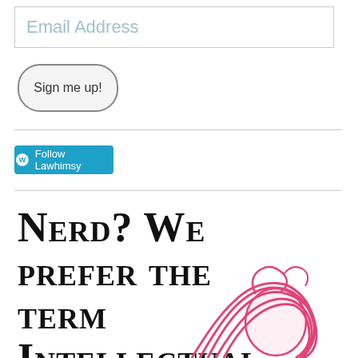[Figure (screenshot): Email address input field with placeholder text 'Email Address']
[Figure (screenshot): Rounded button labeled 'Sign me up!']
[Figure (screenshot): Blue WordPress Follow button labeled 'Follow Lawhimsy']
Nerd? We prefer the term Intellectual Badass,
[Figure (illustration): Partial pink illustrated portrait of a person, visible in the bottom right area]